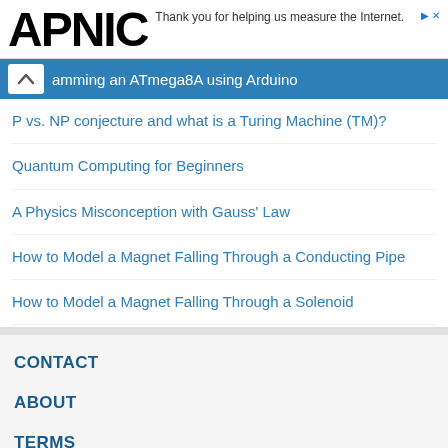[Figure (logo): APNIC logo in bold black text]
Thank you for helping us measure the Internet.
amming an ATmega8A using Arduino
P vs. NP conjecture and what is a Turing Machine (TM)?
Quantum Computing for Beginners
A Physics Misconception with Gauss' Law
How to Model a Magnet Falling Through a Conducting Pipe
How to Model a Magnet Falling Through a Solenoid
CONTACT
ABOUT
TERMS